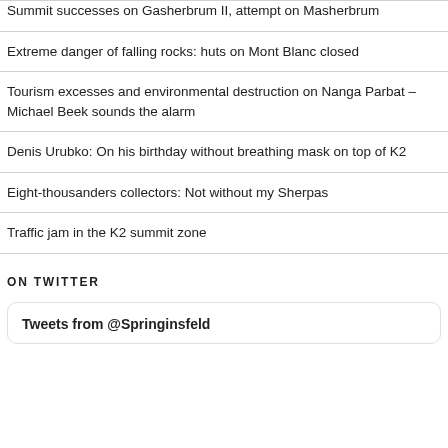Summit successes on Gasherbrum II, attempt on Masherbrum
Extreme danger of falling rocks: huts on Mont Blanc closed
Tourism excesses and environmental destruction on Nanga Parbat – Michael Beek sounds the alarm
Denis Urubko: On his birthday without breathing mask on top of K2
Eight-thousanders collectors: Not without my Sherpas
Traffic jam in the K2 summit zone
ON TWITTER
Tweets from @Springinsfeld